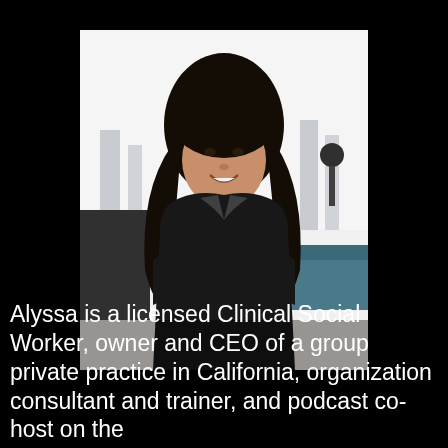[Figure (photo): Professional headshot of a woman with long curly dark hair, wearing a black blazer and necklace, arms crossed, smiling, standing in a modern interior space with city views in the background.]
Alyssa is a licensed Clinical Social Worker, owner and CEO of a group private practice in California, organization consultant and trainer, and podcast co-host on the